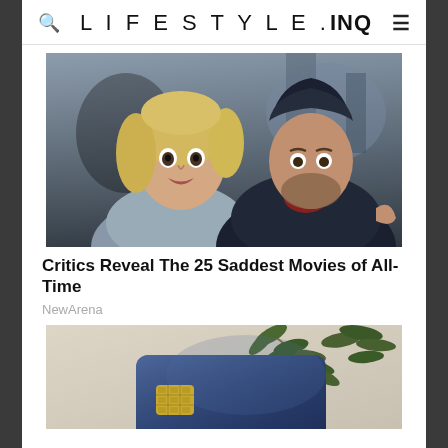LIFESTYLE.INQ
[Figure (photo): A blonde woman and a man wearing a dark hoodie, both looking alarmed or concerned, in a gritty outdoor setting.]
Critics Reveal The 25 Saddest Movies of All-Time
NewArena
[Figure (photo): A dark blue credit card with a gold chip, resting against a beige background with olive branch leaves.]